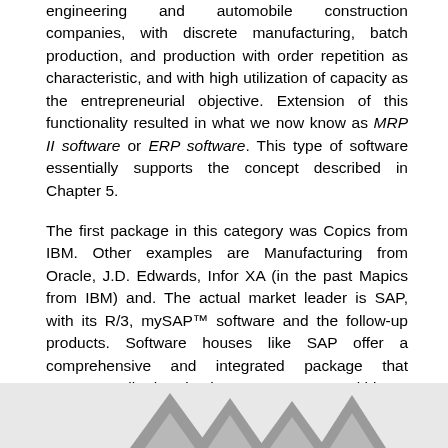engineering and automobile construction companies, with discrete manufacturing, batch production, and production with order repetition as characteristic, and with high utilization of capacity as the entrepreneurial objective. Extension of this functionality resulted in what we now know as MRP II software or ERP software. This type of software essentially supports the concept described in Chapter 5.
The first package in this category was Copics from IBM. Other examples are Manufacturing from Oracle, J.D. Edwards, Infor XA (in the past Mapics from IBM) and. The actual market leader is SAP, with its R/3, mySAP™ software and the follow-up products. Software houses like SAP offer a comprehensive and integrated package that supports all the business processes within a company. Figure 9.2.1.1 contains an overview of the R/3 structure.
[Figure (illustration): Partial view of mountain/triangle shaped logos or icons, appearing at the bottom of the page, shown in grey tones.]